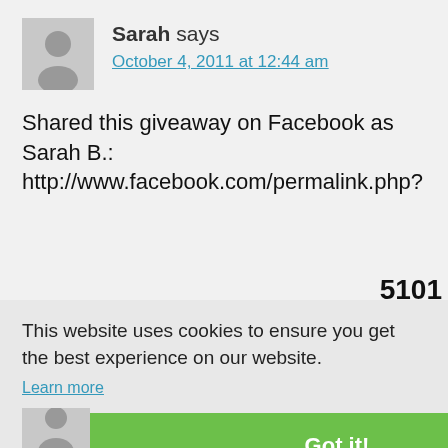Sarah says
October 4, 2011 at 12:44 am
Shared this giveaway on Facebook as Sarah B.: http://www.facebook.com/permalink.php? 5101
This website uses cookies to ensure you get the best experience on our website.
Learn more
Got it!